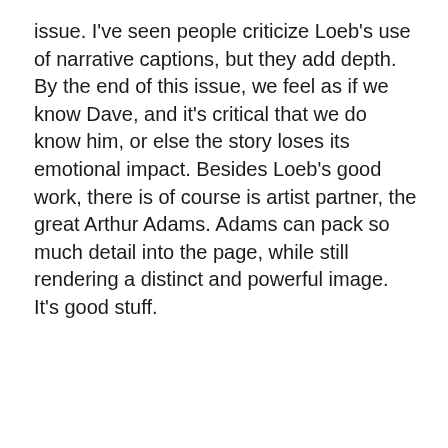issue. I've seen people criticize Loeb's use of narrative captions, but they add depth. By the end of this issue, we feel as if we know Dave, and it's critical that we do know him, or else the story loses its emotional impact. Besides Loeb's good work, there is of course is artist partner, the great Arthur Adams. Adams can pack so much detail into the page, while still rendering a distinct and powerful image. It's good stuff.